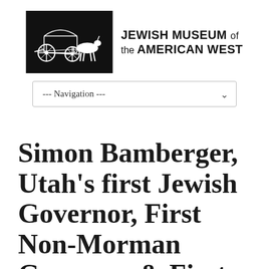[Figure (logo): Jewish Museum of the American West logo — black rectangle containing an illustration of a horse-drawn wagon, beside the text 'JEWISH MUSEUM of the AMERICAN WEST']
--- Navigation ---
Simon Bamberger, Utah's first Jewish Governor, First Non-Morman Governor & First